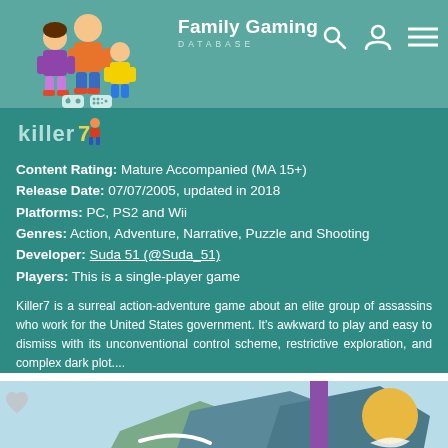Family Gaming DATABASE
[Figure (illustration): Small Killer7 game logo/icon]
Content Rating: Mature Accompanied (MA 15+)
Release Date: 07/07/2005, updated in 2018
Platforms: PC, PS2 and Wii
Genres: Action, Adventure, Narrative, Puzzle and Shooting
Developer: Suda 51 (@Suda_51)
Players: This is a single-player game
Killer7 is a surreal action-adventure game about an elite group of assassins who work for the United States government. It's awkward to play and easy to dismiss with its unconventional control scheme, restrictive exploration, and complex dark plot....
[Figure (illustration): Game artwork thumbnail with heart/favorite icon, showing stylized landscape scene]